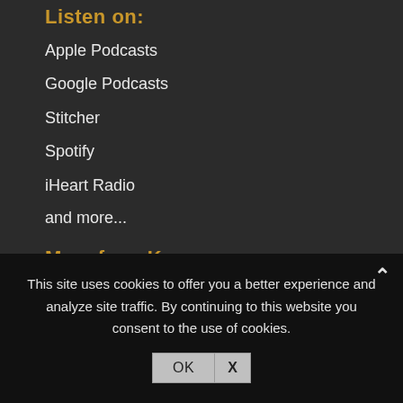Listen on:
Apple Podcasts
Google Podcasts
Stitcher
Spotify
iHeart Radio
and more...
More from Kay:
Mission Writers
This site uses cookies to offer you a better experience and analyze site traffic. By continuing to this website you consent to the use of cookies.